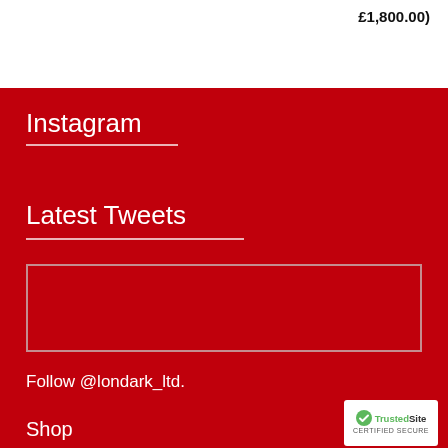£1,800.00)
Instagram
Latest Tweets
@londark_ltd
Follow @londark_ltd.
Shop
[Figure (logo): TrustedSite CERTIFIED SECURE badge]